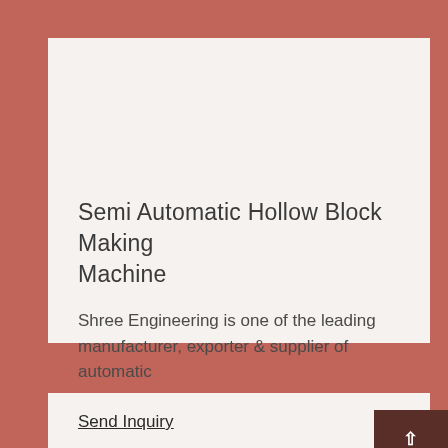Semi Automatic Hollow Block Making Machine
Shree Engineering is one of the leading manufacturer, exporter & supplier of automatic
Send Inquiry